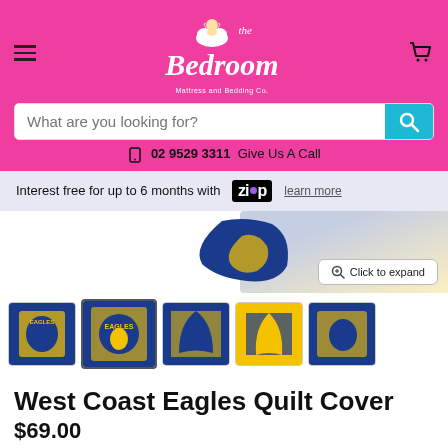the Bedroom Mattress and Bedding Co.
What are you looking for?
02 9529 3311  Give Us A Call
Interest free for up to 6 months with Zip  learn more
[Figure (photo): West Coast Eagles quilt cover product image with blue and gold AFL design, partially visible main image and expand button]
[Figure (photo): Thumbnail gallery of West Coast Eagles Quilt Cover in 5 views, second thumbnail selected/active]
West Coast Eagles Quilt Cover
$69.00